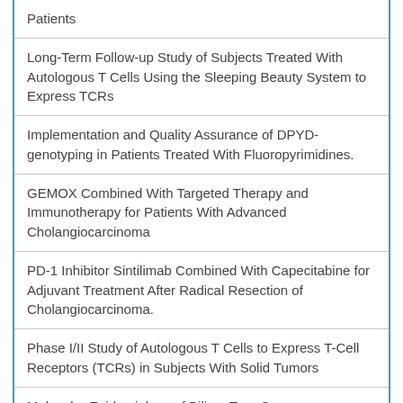Patients
Long-Term Follow-up Study of Subjects Treated With Autologous T Cells Using the Sleeping Beauty System to Express TCRs
Implementation and Quality Assurance of DPYD-genotyping in Patients Treated With Fluoropyrimidines.
GEMOX Combined With Targeted Therapy and Immunotherapy for Patients With Advanced Cholangiocarcinoma
PD-1 Inhibitor Sintilimab Combined With Capecitabine for Adjuvant Treatment After Radical Resection of Cholangiocarcinoma.
Phase I/II Study of Autologous T Cells to Express T-Cell Receptors (TCRs) in Subjects With Solid Tumors
Molecular Epidemiology of Biliary Tree Cancers